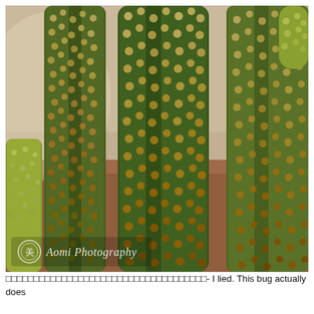[Figure (photo): Close-up photograph of cacti with spiny green columns covered in small yellow-green bumps/areoles, against a blurred brown desert ground background. A circular watermark logo and 'Aomi Photography' text overlay appears in the lower left of the image.]
□□□□□□□□□□□□□□□□□□□□□□□□□□□□□□□□□□□□- I lied. This bug actually does